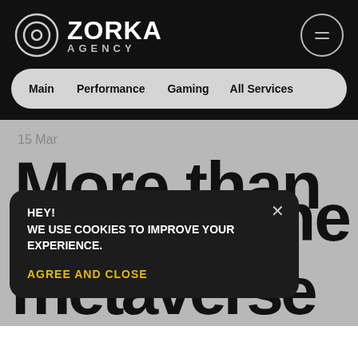ZORKA AGENCY
Main  Performance  Gaming  All Services
15 Mar
More than the metaverse
[Figure (screenshot): Cookie consent popup overlay with text: HEY! WE USE COOKIES TO IMPROVE YOUR EXPERIENCE. AGREE AND CLOSE]